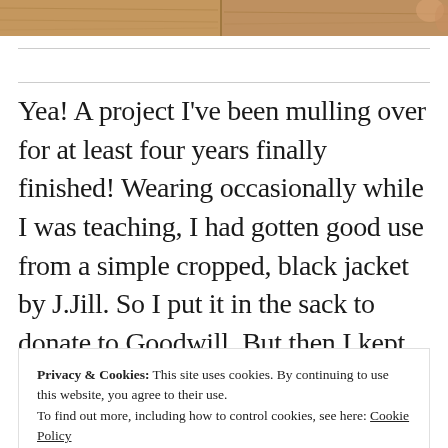[Figure (photo): Cropped photo strip at top of page showing a wooden surface with hands visible at right edge]
Yea! A project I've been mulling over for at least four years finally finished! Wearing occasionally while I was teaching, I had gotten good use from a simple cropped, black jacket by J.Jill. So I put it in the sack to donate to Goodwill. But then I kept taking it out and putting it back. I kept seeing... something
Privacy & Cookies: This site uses cookies. By continuing to use this website, you agree to their use.
To find out more, including how to control cookies, see here: Cookie Policy
Close and accept